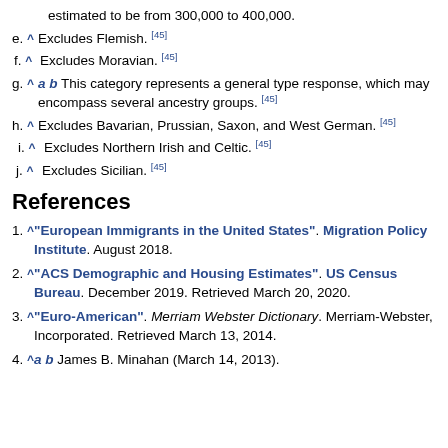estimated to be from 300,000 to 400,000.
e. ^ Excludes Flemish. [45]
f. ^ Excludes Moravian. [45]
g. ^ a b This category represents a general type response, which may encompass several ancestry groups. [45]
h. ^ Excludes Bavarian, Prussian, Saxon, and West German. [45]
i. ^ Excludes Northern Irish and Celtic. [45]
j. ^ Excludes Sicilian. [45]
References
1. ^ "European Immigrants in the United States". Migration Policy Institute. August 2018.
2. ^ "ACS Demographic and Housing Estimates". US Census Bureau. December 2019. Retrieved March 20, 2020.
3. ^ "Euro-American". Merriam Webster Dictionary. Merriam-Webster, Incorporated. Retrieved March 13, 2014.
4. ^ a b James B. Minahan (March 14, 2013).